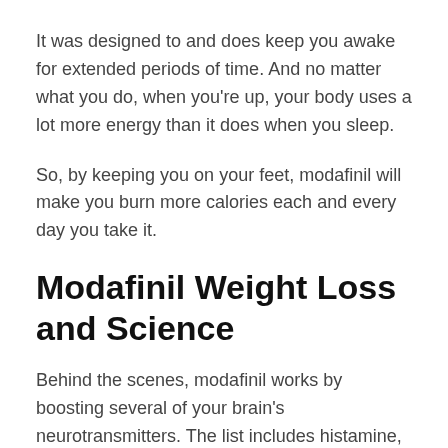It was designed to and does keep you awake for extended periods of time. And no matter what you do, when you're up, your body uses a lot more energy than it does when you sleep.
So, by keeping you on your feet, modafinil will make you burn more calories each and every day you take it.
Modafinil Weight Loss and Science
Behind the scenes, modafinil works by boosting several of your brain's neurotransmitters. The list includes histamine, dopamine, and norepinephrine.